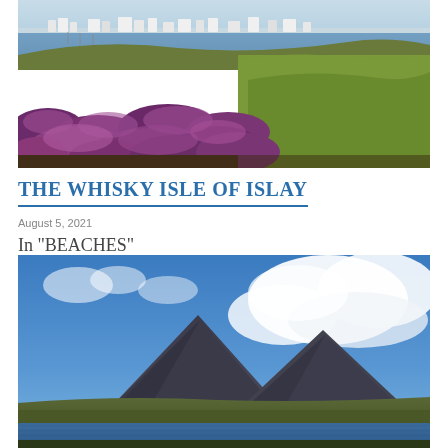[Figure (photo): Landscape photo of Islay showing purple heather in the foreground with green grass, a harbor with sailboats and white buildings in the background under a blue sky.]
THE WHISKY ISLE OF ISLAY
August 5, 2021
In "BEACHES"
[Figure (photo): Landscape photo showing two dark conical mountains (Paps of Jura) under a dramatic blue sky with large white clouds, water visible in the foreground.]